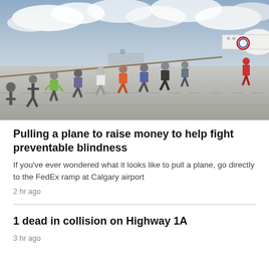[Figure (photo): A group of people pulling a rope attached to a FedEx airplane on an airport tarmac under a cloudy sky. The nose of the white aircraft is visible on the right side.]
Pulling a plane to raise money to help fight preventable blindness
If you've ever wondered what it looks like to pull a plane, go directly to the FedEx ramp at Calgary airport
2 hr ago
1 dead in collision on Highway 1A
3 hr ago